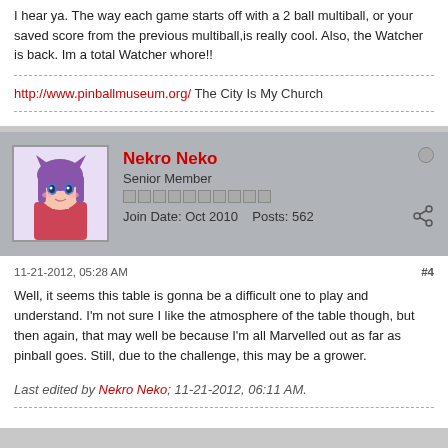I hear ya. The way each game starts off with a 2 ball multiball, or your saved score from the previous multiball,is really cool. Also, the Watcher is back. Im a total Watcher whore!!
http://www.pinballmuseum.org/ The City Is My Church
Nekro Neko
Senior Member
Join Date: Oct 2010   Posts: 562
11-21-2012, 05:28 AM
#4
Well, it seems this table is gonna be a difficult one to play and understand. I'm not sure I like the atmosphere of the table though, but then again, that may well be because I'm all Marvelled out as far as pinball goes. Still, due to the challenge, this may be a grower.
Last edited by Nekro Neko; 11-21-2012, 06:11 AM.